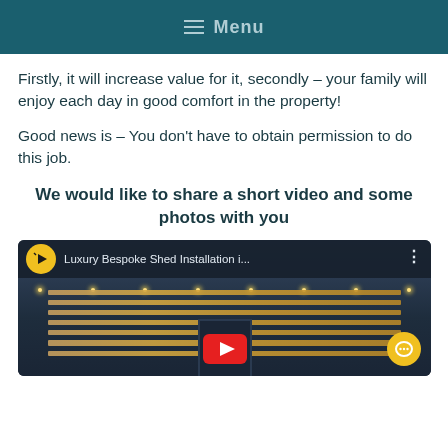Menu
Firstly, it will increase value for it, secondly – your family will enjoy each day in good comfort in the property!
Good news is – You don't have to obtain permission to do this job.
We would like to share a short video and some photos with you
[Figure (screenshot): YouTube video thumbnail showing a luxury bespoke shed installation with wooden cladding, blue accent door, and overhead lighting. Title reads 'Luxury Bespoke Shed Installation i...']